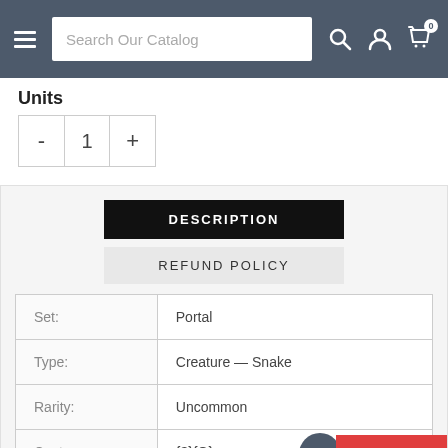Search Our Catalog
Units
- 1 +
DESCRIPTION
REFUND POLICY
|  |  |
| --- | --- |
| Set: | Portal |
| Type: | Creature — Snake |
| Rarity: | Uncommon |
| Cost: | {3}{G} |
Rewards